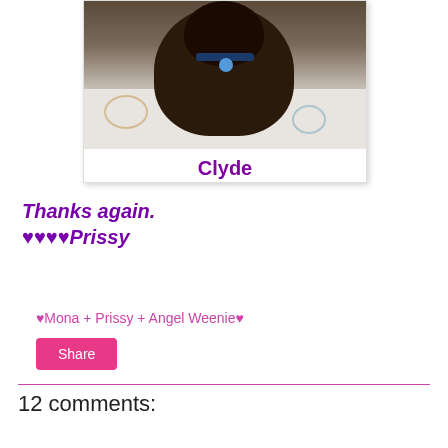[Figure (photo): Photo of a dark-colored dog (Clyde) lying on patterned bedding, viewed from above. The dog has a blue collar tag.]
Clyde
Thanks again.
♥♥♥♥Prissy
♥Mona + Prissy + Angel Weenie♥
Share
12 comments: